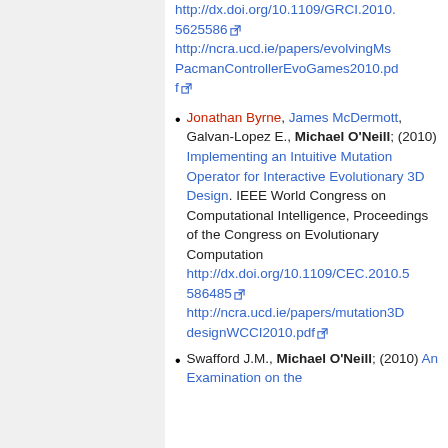http://dx.doi.org/10.1109/GRCI.2010.5625586 http://ncra.ucd.ie/papers/evolvingMsPacmanControllerEvoGames2010.pdf
Jonathan Byrne, James McDermott, Galvan-Lopez E., Michael O'Neill; (2010) Implementing an Intuitive Mutation Operator for Interactive Evolutionary 3D Design. IEEE World Congress on Computational Intelligence, Proceedings of the Congress on Evolutionary Computation http://dx.doi.org/10.1109/CEC.2010.5586485 http://ncra.ucd.ie/papers/mutation3DdesignWCCI2010.pdf
Swafford J.M., Michael O'Neill; (2010) An Examination on the